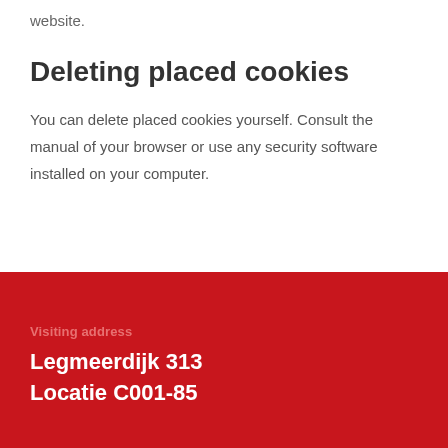website.
Deleting placed cookies
You can delete placed cookies yourself. Consult the manual of your browser or use any security software installed on your computer.
Visiting address
Legmeerdijk 313
Locatie C001-85